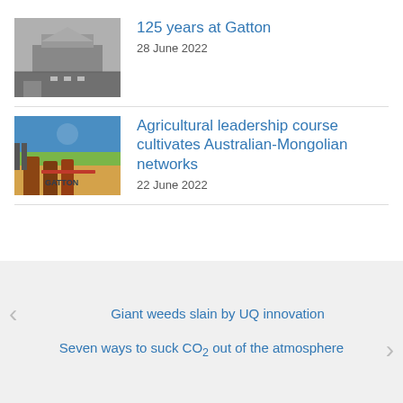[Figure (photo): Black and white historical photo of a building at Gatton]
125 years at Gatton
28 June 2022
[Figure (photo): Color photo of people standing in front of a large GATTON sign outdoors]
Agricultural leadership course cultivates Australian-Mongolian networks
22 June 2022
Giant weeds slain by UQ innovation
Seven ways to suck CO₂ out of the atmosphere